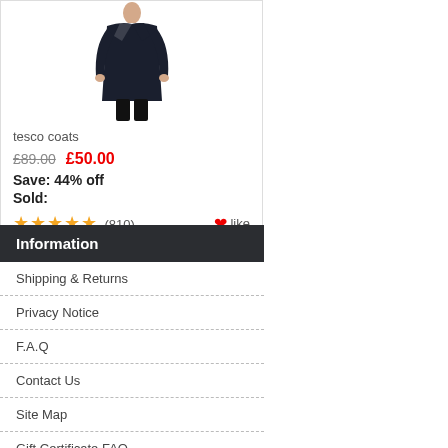[Figure (photo): Product photo of a dark navy coat worn by a model, showing upper torso and full coat length]
tesco coats
£89.00   £50.00
Save: 44% off
Sold:
★★★★★ (810)   ❤like
Information
Shipping & Returns
Privacy Notice
F.A.Q
Contact Us
Site Map
Gift Certificate FAQ
Discount Coupons
Newsletter Unsubscribe